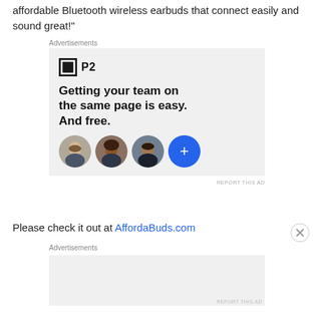affordable Bluetooth wireless earbuds that connect easily and sound great!"
[Figure (screenshot): Advertisement banner for P2 app. Shows P2 logo (black square icon with white inner square border, and bold 'P2' text), headline text 'Getting your team on the same page is easy. And free.' and three circular avatar photos of people plus a blue circle with a plus sign.]
Please check it out at AffordaBuds.com
Advertisements
[Figure (screenshot): Second advertisement placeholder banner with gray background, empty content area.]